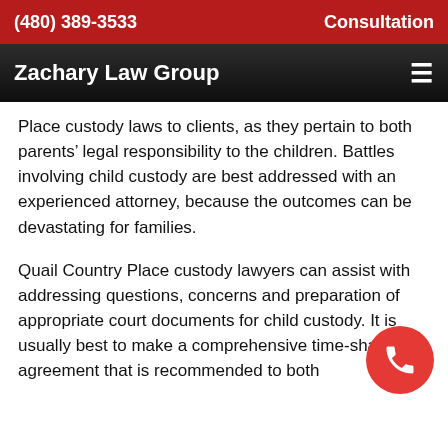(480) 389-3533   Consultation
Zachary Law Group
Place custody laws to clients, as they pertain to both parents’ legal responsibility to the children. Battles involving child custody are best addressed with an experienced attorney, because the outcomes can be devastating for families.
Quail Country Place custody lawyers can assist with addressing questions, concerns and preparation of appropriate court documents for child custody. It is usually best to make a comprehensive time-sharing agreement that is recommended to both...